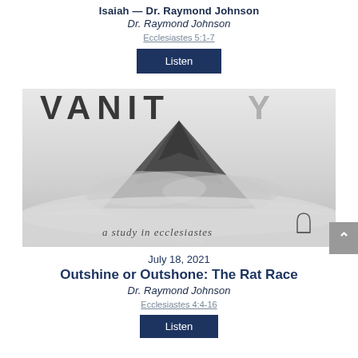Isaiah — Dr. Raymond Johnson
Dr. Raymond Johnson
Ecclesiastes 5:1-7
Listen
[Figure (illustration): VANITY — a study in ecclesiastes. Black and white image of a mountain peak obscured by clouds and mist. Text 'VANITY' in large letters at top, 'a study in ecclesiastes' in script at bottom, small church arch logo at bottom right.]
July 18, 2021
Outshine or Outshone: The Rat Race
Dr. Raymond Johnson
Ecclesiastes 4:4-16
Listen